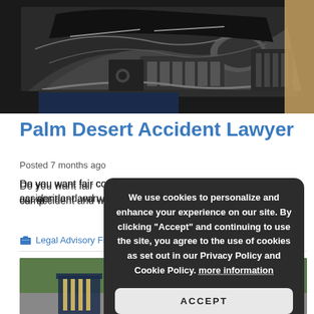[Figure (photo): Close-up photo of a damaged car after a collision, showing crushed front hood and engine parts]
Palm Desert Accident Lawyer
Posted 7 months ago
Do you want fair compensation after being involved in a car accident and want to hire a professional Palm Desert...
Legal Advisory Firm...
[Figure (photo): Photo showing a person in distress after a car accident, with another vehicle visible in the background]
We use cookies to personalize and enhance your experience on our site. By clicking "Accept" and continuing to use the site, you agree to the use of cookies as set out in our Privacy Policy and Cookie Policy. more information
ACCEPT